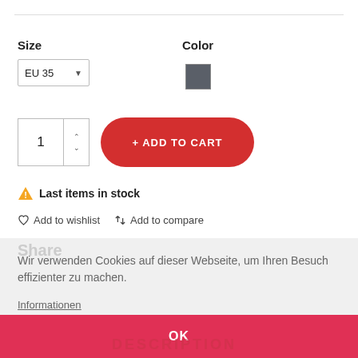Size
Color
EU 35
[Figure (other): Dark gray color swatch square]
1
+ ADD TO CART
Last items in stock
Add to wishlist   Add to compare
Wir verwenden Cookies auf dieser Webseite, um Ihren Besuch effizienter zu machen.
Informationen
OK
DESCRIPTION